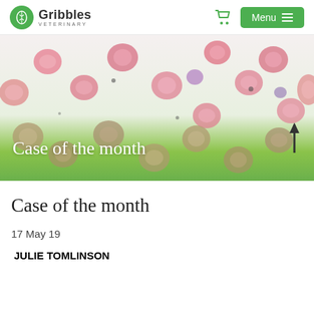Gribbles Veterinary — Menu navigation bar
[Figure (photo): Microscopy image of blood cells (red blood cells and other cells) on a light green/white background, with a green gradient at the bottom. Text overlay reads 'Case of the month' in white serif font and a dark upward arrow on the right side.]
Case of the month
17 May 19
JULIE TOMLINSON